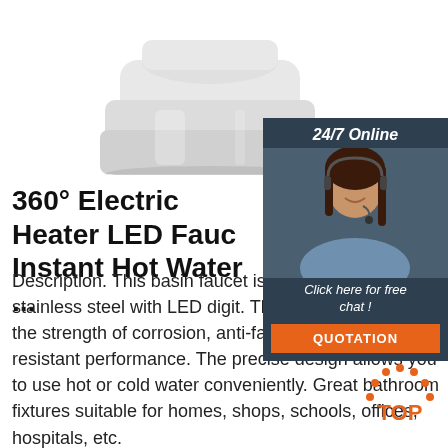[Figure (photo): Bottom portion of a white electric water heater faucet device on white background]
[Figure (infographic): 24/7 Online chat widget with customer service representative photo, 'Click here for free chat!' text, and orange QUOTATION button]
360° Electric Heater LED Faucet Instant Hot Water ...
Description. This basin faucet is made with premium stainless steel with LED digit. This product posseses the strength of corrosion, anti-fading and wear-resistant performance. The precise design allows you to use hot or cold water conveniently. Great bathroom fixtures suitable for homes, shops, schools, offices, hospitals, etc.
[Figure (logo): Orange TOP badge with dotted arc above text]